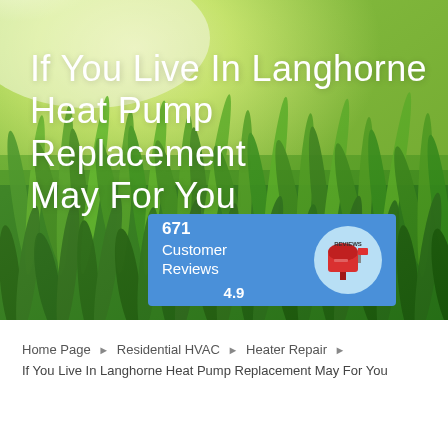[Figure (photo): Green grass field with bright sunlight and bokeh background, serving as hero image]
If You Live In Langhorne Heat Pump Replacement May For You
[Figure (infographic): Blue review badge showing 671 Customer Reviews with rating 4.9 and a mailbox icon]
Home Page › Residential HVAC › Heater Repair › If You Live In Langhorne Heat Pump Replacement May For You